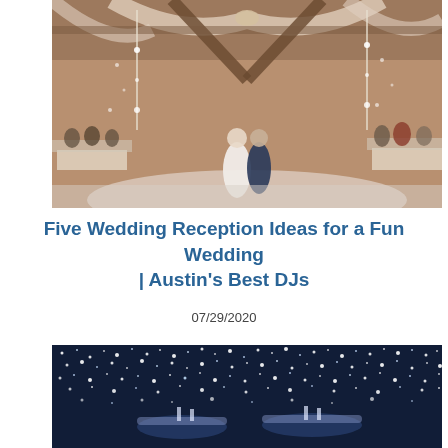[Figure (photo): Wedding reception first dance photo — bride and groom dancing on a white dance floor under draped ceiling with sparkler/confetti effects, guests seated at tables in background]
Five Wedding Reception Ideas for a Fun Wedding | Austin's Best DJs
07/29/2020
[Figure (photo): Wedding venue decorated with thousands of string lights or LED confetti falling from ceiling, dark blue ambiance with table centerpieces glowing below]